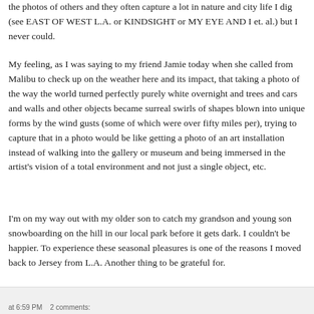the photos of others and they often capture a lot in nature and city life I dig (see EAST OF WEST L.A. or KINDSIGHT or MY EYE AND I et. al.) but I never could.
My feeling, as I was saying to my friend Jamie today when she called from Malibu to check up on the weather here and its impact, that taking a photo of the way the world turned perfectly purely white overnight and trees and cars and walls and other objects became surreal swirls of shapes blown into unique forms by the wind gusts (some of which were over fifty miles per), trying to capture that in a photo would be like getting a photo of an art installation instead of walking into the gallery or museum and being immersed in the artist's vision of a total environment and not just a single object, etc.
I'm on my way out with my older son to catch my grandson and young son snowboarding on the hill in our local park before it gets dark. I couldn't be happier. To experience these seasonal pleasures is one of the reasons I moved back to Jersey from L.A. Another thing to be grateful for.
at 6:59 PM   2 comments: